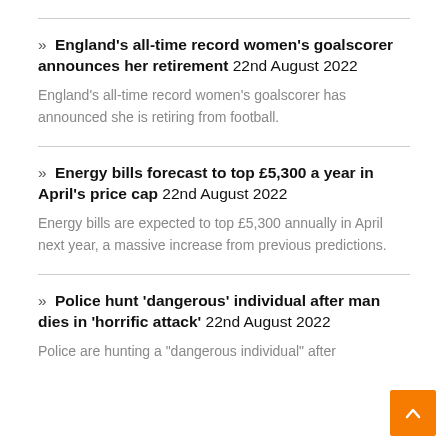» England's all-time record women's goalscorer announces her retirement 22nd August 2022 England's all-time record women's goalscorer has announced she is retiring from football.
» Energy bills forecast to top £5,300 a year in April's price cap 22nd August 2022 Energy bills are expected to top £5,300 annually in April next year, a massive increase from previous predictions.
» Police hunt 'dangerous' individual after man dies in 'horrific attack' 22nd August 2022 Police are hunting a "dangerous individual" after